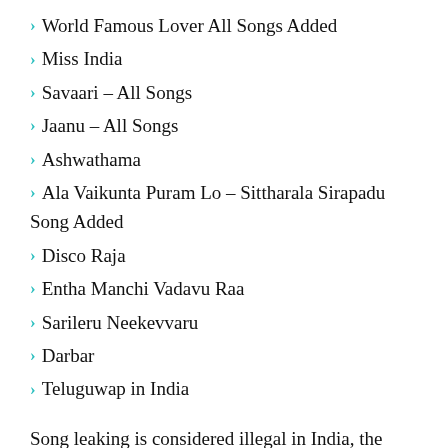World Famous Lover All Songs Added
Miss India
Savaari – All Songs
Jaanu – All Songs
Ashwathama
Ala Vaikunta Puram Lo – Sittharala Sirapadu Song Added
Disco Raja
Entha Manchi Vadavu Raa
Sarileru Neekevvaru
Darbar
Teluguwap in India
Song leaking is considered illegal in India, the USA and many different countries. The Indian government has banned sites like Teluguwap from